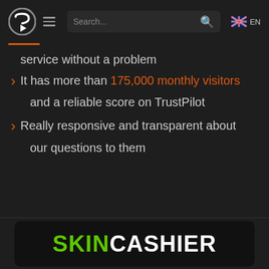Search... EN
service without a problem
It has more than 175,000 monthly visitors and a reliable score on TrustPilot
Really responsive and transparent about our questions to them
[Figure (logo): SKINCASHIER logo with SKIN in green and CASHIER in white on dark background]